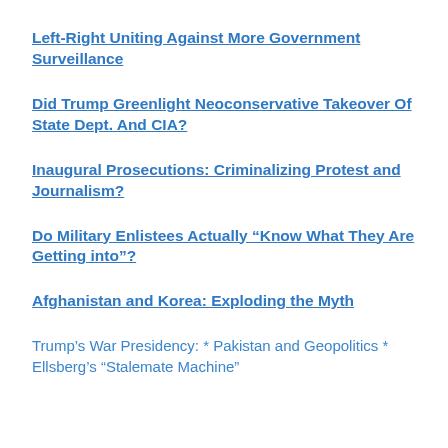Left-Right Uniting Against More Government Surveillance
Did Trump Greenlight Neoconservative Takeover Of State Dept. And CIA?
Inaugural Prosecutions: Criminalizing Protest and Journalism?
Do Military Enlistees Actually “Know What They Are Getting into”?
Afghanistan and Korea: Exploding the Myth
Trump’s War Presidency: * Pakistan and Geopolitics * Ellsberg’s “Stalemate Machine”